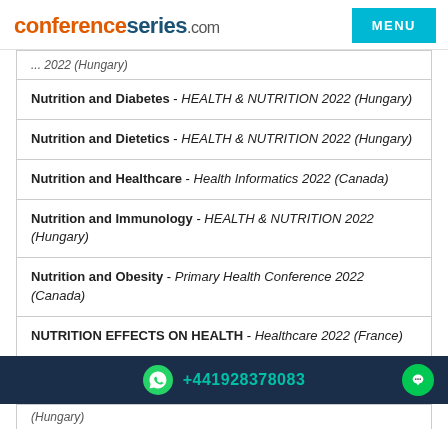conferenceseries.com
... 2022 (Hungary)
Nutrition and Diabetes - HEALTH & NUTRITION 2022 (Hungary)
Nutrition and Dietetics - HEALTH & NUTRITION 2022 (Hungary)
Nutrition and Healthcare - Health Informatics 2022 (Canada)
Nutrition and Immunology - HEALTH & NUTRITION 2022 (Hungary)
Nutrition and Obesity - Primary Health Conference 2022 (Canada)
NUTRITION EFFECTS ON HEALTH - Healthcare 2022 (France)
+441928378083
(Hungary)